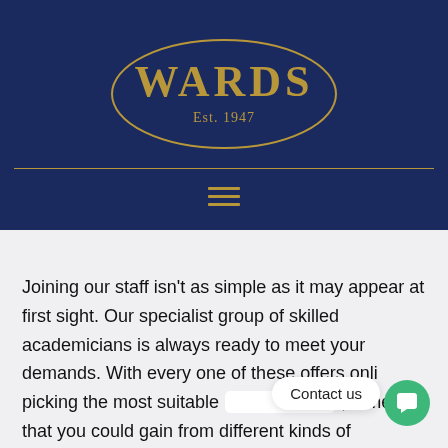[Figure (logo): Wards Est. 1947 logo in gold on dark navy oval, on navy background with gold divider line and hamburger menu icon]
Joining our staff isn't as simple as it may appear at first sight. Our specialist group of skilled academicians is always ready to meet your demands. With every one of these offers online picking the most suitable , a means that you could gain from different kinds of